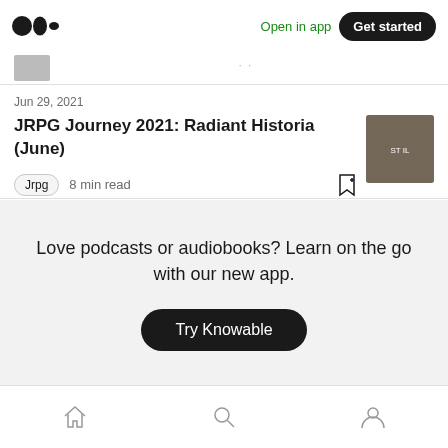Medium logo | Open in app | Get started
Jun 29, 2021
JRPG Journey 2021: Radiant Historia (June)
Jrpg  8 min read
[Figure (photo): Article thumbnail image for JRPG Journey 2021: Radiant Historia]
Love podcasts or audiobooks? Learn on the go with our new app.
Try Knowable
Home | Search | Profile icons